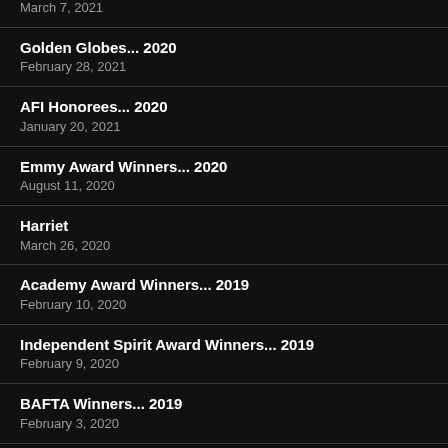March 7, 2021
Golden Globes... 2020
February 28, 2021
AFI Honorees... 2020
January 20, 2021
Emmy Award Winners... 2020
August 11, 2020
Harriet
March 26, 2020
Academy Award Winners... 2019
February 10, 2020
Independent Spirit Award Winners... 2019
February 9, 2020
BAFTA Winners... 2019
February 3, 2020
SAG Winners... 2019
January 19, 2020